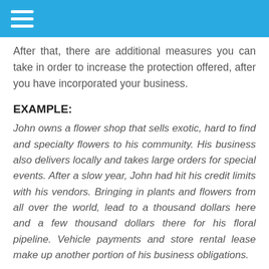After that, there are additional measures you can take in order to increase the protection offered, after you have incorporated your business.
EXAMPLE:
John owns a flower shop that sells exotic, hard to find and specialty flowers to his community. His business also delivers locally and takes large orders for special events. After a slow year, John had hit his credit limits with his vendors. Bringing in plants and flowers from all over the world, lead to a thousand dollars here and a few thousand dollars there for his floral pipeline. Vehicle payments and store rental lease make up another portion of his business obligations.